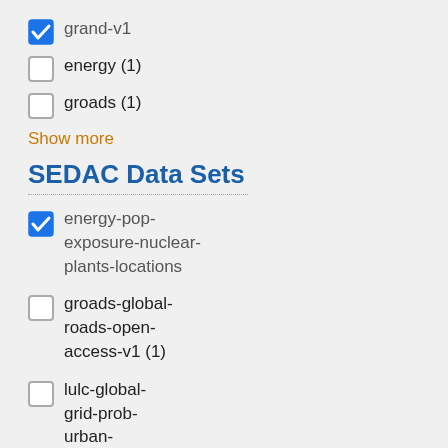grand-v1 (checked)
energy (1)
groads (1)
Show more
SEDAC Data Sets
energy-pop-exposure-nuclear-plants-locations (checked)
groads-global-roads-open-access-v1 (1)
lulc-global-grid-prob-urban-expansion-2030 (1)
sdei-global-uhi-2013 (1)